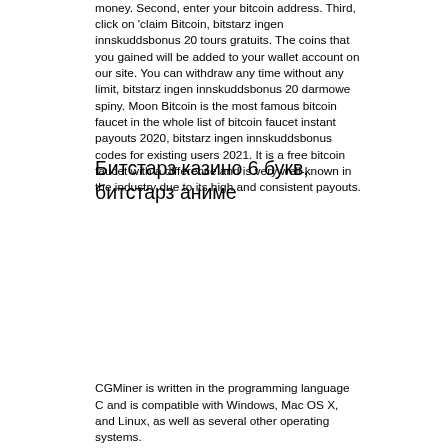money. Second, enter your bitcoin address. Third, click on 'claim Bitcoin, bitstarz ingen innskuddsbonus 20 tours gratuits. The coins that you gained will be added to your wallet account on our site. You can withdraw any time without any limit, bitstarz ingen innskuddsbonus 20 darmowe spiny. Moon Bitcoin is the most famous bitcoin faucet in the whole list of bitcoin faucet instant payouts 2020, bitstarz ingen innskuddsbonus codes for existing users 2021. It is a free bitcoin faucet with a difference and is very well-known in the industry due to its high and consistent payouts.
Битстарз казино 6 букв, битстарз аниме
CGMiner is written in the programming language C and is compatible with Windows, Mac OS X, and Linux, as well as several other operating systems.